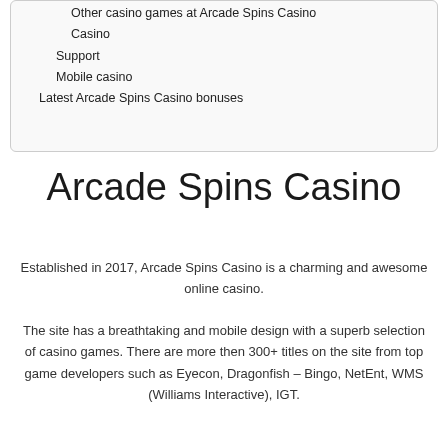Other casino games at Arcade Spins Casino
Casino
Support
Mobile casino
Latest Arcade Spins Casino bonuses
Arcade Spins Casino
Established in 2017, Arcade Spins Casino is a charming and awesome online casino.
The site has a breathtaking and mobile design with a superb selection of casino games. There are more then 300+ titles on the site from top game developers such as Eyecon, Dragonfish – Bingo, NetEnt, WMS (Williams Interactive), IGT.